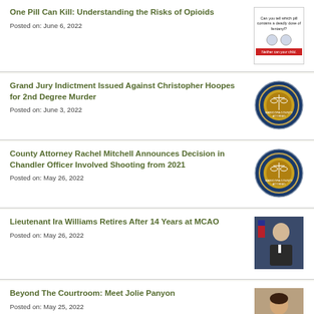One Pill Can Kill: Understanding the Risks of Opioids
Posted on: June 6, 2022
[Figure (photo): Anti-fentanyl public awareness image: two pills, text reads 'Can you tell which pill contains a deadly dose of fentanyl?' and 'Neither can your child.']
Grand Jury Indictment Issued Against Christopher Hoopes for 2nd Degree Murder
Posted on: June 3, 2022
[Figure (logo): Maricopa County Attorney official seal/logo]
County Attorney Rachel Mitchell Announces Decision in Chandler Officer Involved Shooting from 2021
Posted on: May 26, 2022
[Figure (logo): Maricopa County Attorney official seal/logo]
Lieutenant Ira Williams Retires After 14 Years at MCAO
Posted on: May 26, 2022
[Figure (photo): Photo of Lieutenant Ira Williams in suit, in front of flag]
Beyond The Courtroom: Meet Jolie Panyon
Posted on: May 25, 2022
[Figure (photo): Photo of Jolie Panyon, woman with dark hair]